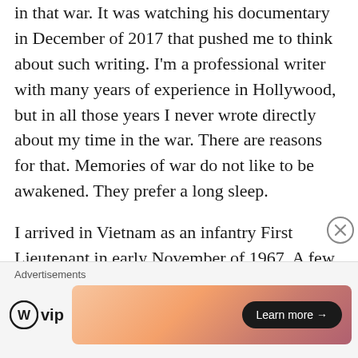in that war. It was watching his documentary in December of 2017 that pushed me to think about such writing. I'm a professional writer with many years of experience in Hollywood, but in all those years I never wrote directly about my time in the war. There are reasons for that. Memories of war do not like to be awakened. They prefer a long sleep.
I arrived in Vietnam as an infantry First Lieutenant in early November of 1967. A few weeks after I arrived I celebrated my 22nd birthday. The year ahead for me, for my loved ones, and for the entire country was
Advertisements
[Figure (logo): WordPress VIP logo with circle W icon and 'vip' text]
[Figure (illustration): Advertisement banner with orange/pink gradient background and 'Learn more →' button]